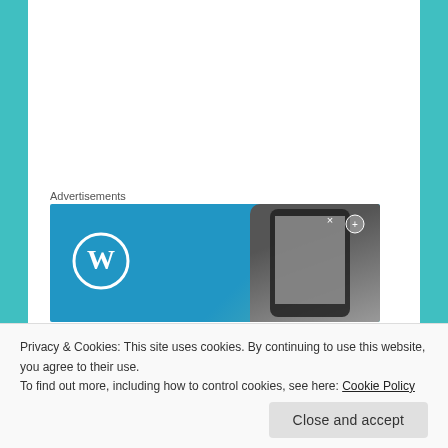Advertisements
[Figure (screenshot): WordPress advertisement banner with WordPress logo on left and phone on right, blue gradient background]
GRACE2610   February 19, 2017 at 6:51 pm   LOG IN TO REPLY
Hey, I've just discovered your blog and I love it x
http://www.paperclipsandpins.wordpress.co
Privacy & Cookies: This site uses cookies. By continuing to use this website, you agree to their use.
To find out more, including how to control cookies, see here: Cookie Policy
Close and accept